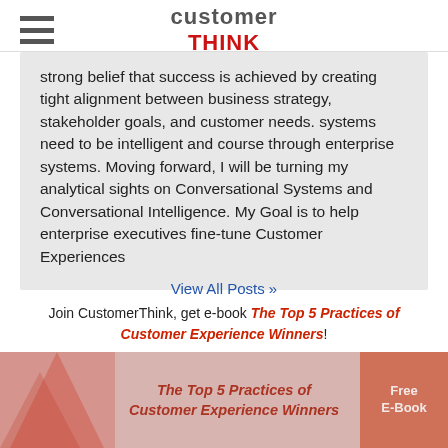customerTHINK
strong belief that success is achieved by creating tight alignment between business strategy, stakeholder goals, and customer needs. systems need to be intelligent and course through enterprise systems. Moving forward, I will be turning my analytical sights on Conversational Systems and Conversational Intelligence. My Goal is to help enterprise executives fine-tune Customer Experiences
View All Posts »
Join CustomerThink, get e-book The Top 5 Practices of Customer Experience Winners!
[Figure (infographic): Promotional banner for e-book: The Top 5 Practices of Customer Experience Winners, Free E-Book]